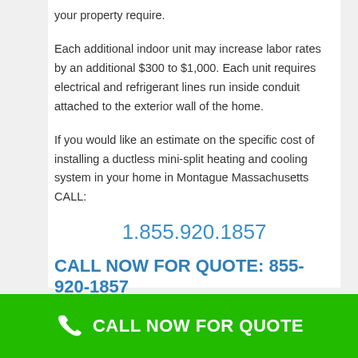your property require.
Each additional indoor unit may increase labor rates by an additional $300 to $1,000. Each unit requires electrical and refrigerant lines run inside conduit attached to the exterior wall of the home.
If you would like an estimate on the specific cost of installing a ductless mini-split heating and cooling system in your home in Montague Massachusetts CALL:
1.855.920.1857
CALL NOW FOR QUOTE: 855-920-1857
CALL NOW FOR QUOTE